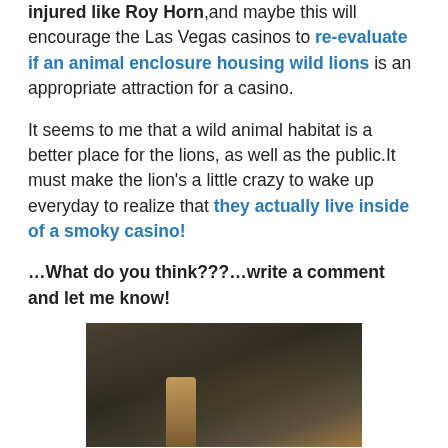injured like Roy Horn,and maybe this will encourage the Las Vegas casinos to re-evaluate if an animal enclosure housing wild lions is an appropriate attraction for a casino.
It seems to me that a wild animal habitat is a better place for the lions, as well as the public.It must make the lion’s a little crazy to wake up everyday to realize that they actually live inside of a smoky casino!
…What do you think???…write a comment and let me know!
[Figure (photo): Dark photograph of what appears to be a lion enclosure or animal habitat, showing rocks and possibly animal features in low lighting.]